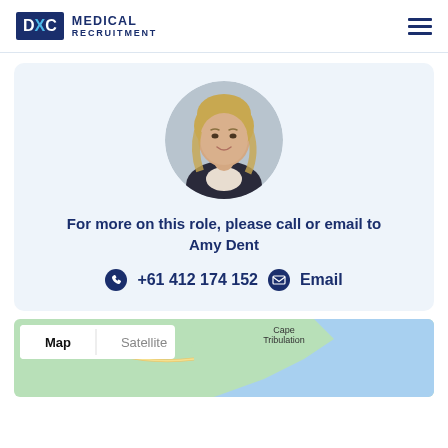DXC MEDICAL RECRUITMENT
[Figure (photo): Circular portrait photo of Amy Dent, a woman with long blonde hair wearing a dark jacket, against a light grey background.]
For more on this role, please call or email to Amy Dent
+61 412 174 152  Email
[Figure (map): Google Maps view showing a coastal region near Cape Tribulation, with Map and Satellite toggle buttons visible.]